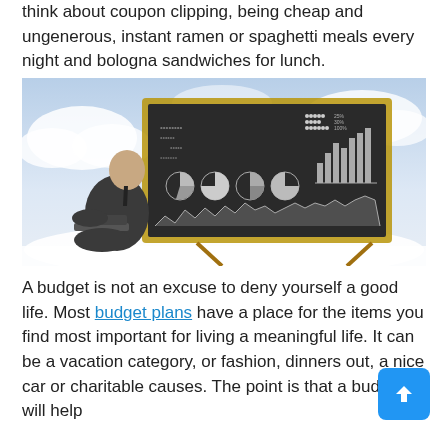think about coupon clipping, being cheap and ungenerous, instant ramen or spaghetti meals every night and bologna sandwiches for lunch.
[Figure (photo): A businessman in a suit sitting on the ground using a laptop, leaning against a large chalkboard on an easel that displays charts, maps, pie charts, and bar graphs. Set against a cloudy sky background.]
A budget is not an excuse to deny yourself a good life. Most budget plans have a place for the items you find most important for living a meaningful life. It can be a vacation category, or fashion, dinners out, a nice car or charitable causes. The point is that a budget will help